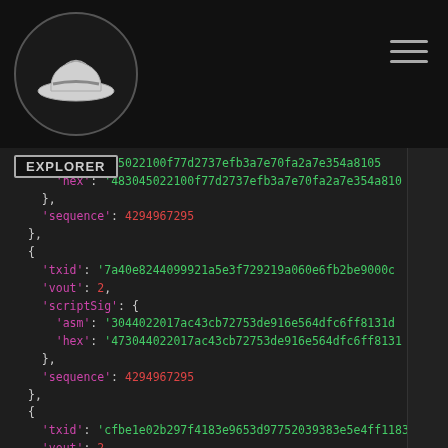[Figure (logo): White hat logo in a circle - blockchain explorer logo]
EXPLORER
'm': '3045022100f77d2737efb3a7e70fa2a7e354a810...
'hex': '483045022100f77d2737efb3a7e70fa2a7e354a81...
},
'sequence': 4294967295
},
{
  'txid': '7a40e8244099921a5e3f729219a060e6fb2be9000c...
  'vout': 2,
  'scriptSig': {
    'asm': '3044022017ac43cb72753de916e564dfc6ff8131d...
    'hex': '473044022017ac43cb72753de916e564dfc6ff8131...
  },
  'sequence': 4294967295
},
{
  'txid': 'cfbe1e02b297f4183e9653d97752039383e5e4ff1183c...
  'vout': 2,
  'scriptSig': {
    'asm': '3045022100d826ae2efc140cc9aadd6d4459c1b...
    'hex': '483045022100d826ae2efc140cc9aadd6d4459c_...
  },
  'sequence': 4294967295